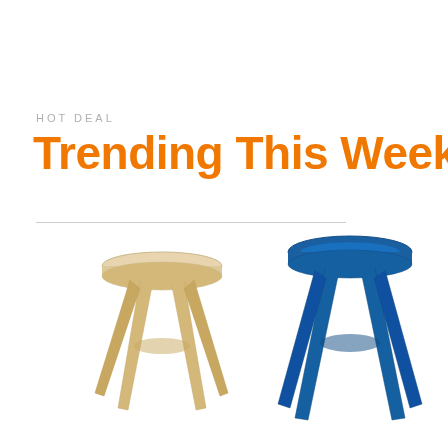HOT DEAL
Trending This Week
[Figure (photo): Two wooden stools with crossed legs: one in natural light birch wood on the left, one in blue finish on the right, both photographed on a white background]